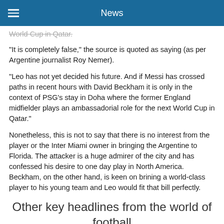News
World Cup in Qatar.
"It is completely false," the source is quoted as saying (as per Argentine journalist Roy Nemer).
"Leo has not yet decided his future. And if Messi has crossed paths in recent hours with David Beckham it is only in the context of PSG's stay in Doha where the former England midfielder plays an ambassadorial role for the next World Cup in Qatar."
Nonetheless, this is not to say that there is no interest from the player or the Inter Miami owner in bringing the Argentine to Florida. The attacker is a huge admirer of the city and has confessed his desire to one day play in North America. Beckham, on the other hand, is keen on brining a world-class player to his young team and Leo would fit that bill perfectly.
Other key headlines from the world of football
El Clasico: Real Madrid and Barcelona 'set' for pre-season clash in Las Vegas
Significant progress in talks have been made for Barcelona and Real